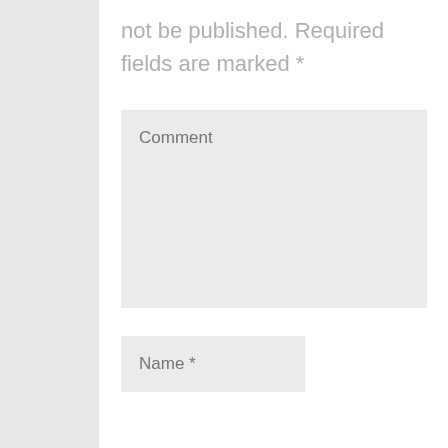not be published. Required fields are marked *
[Figure (screenshot): Comment textarea input field with placeholder text 'Comment' on a light gray background]
[Figure (screenshot): Name input field with placeholder text 'Name *' on a light gray background]